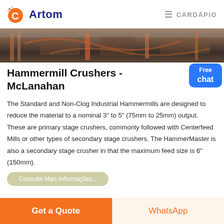Artom | CARDÁPIO
[Figure (photo): Industrial hammermill crusher machinery photo, dark tones with orange/red equipment visible]
Hammermill Crushers - McLanahan
The Standard and Non-Clog Industrial Hammermills are designed to reduce the material to a nominal 3" to 5" (75mm to 25mm) output. These are primary stage crushers, commonly followed with Centerfeed Mills or other types of secondary stage crushers. The HammerMaster is also a secondary stage crusher in that the maximum feed size is 6" (150mm).
[Figure (screenshot): Free chat widget button (blue rounded square with 'Free chat' text)]
Get a Quote | WhatsApp